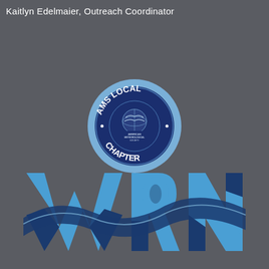Kaitlyn Edelmaier, Outreach Coordinator
[Figure (logo): AMS Local Chapter circular seal logo. Dark navy blue circle with light blue border ring. White text reads 'AMS LOCAL' on top arc and 'CHAPTER' on bottom arc. Inner seal shows American Meteorological Society emblem with globe/weather imagery.]
[Figure (logo): WRN logo in large bold blue letters. 'W', 'R', 'N' rendered in light blue with dark navy blue swoosh/wave overlay across the letters, creating a stylized weather-related branding mark.]